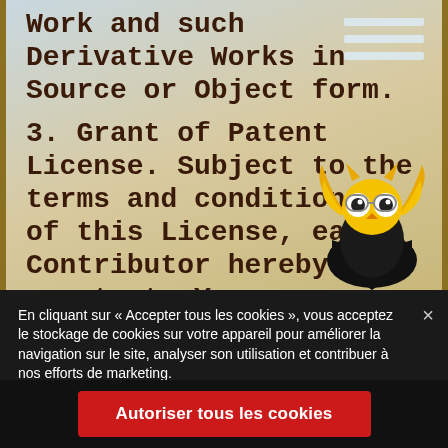Work and such Derivative Works in Source or Object form.
3. Grant of Patent License. Subject to the terms and conditions of this License, each Contributor hereby grants to You a
[Figure (illustration): Animated owl mascot character with yellow wings and large eyes, wearing glasses, on a black shield/badge background]
En cliquant sur « Accepter tous les cookies », vous acceptez le stockage de cookies sur votre appareil pour améliorer la navigation sur le site, analyser son utilisation et contribuer à nos efforts de marketing.
Autoriser tous les cookies